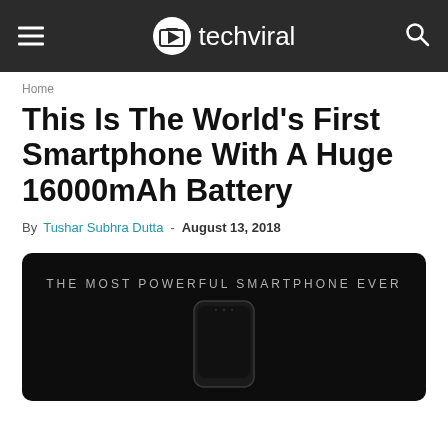techviral
Home
This Is The World's First Smartphone With A Huge 16000mAh Battery
By Tushar Subhra Dutta - August 13, 2018
[Figure (photo): Dark promotional image of a smartphone with text 'THE MOST POWERFUL SMARTPHONE EVER' above the device]